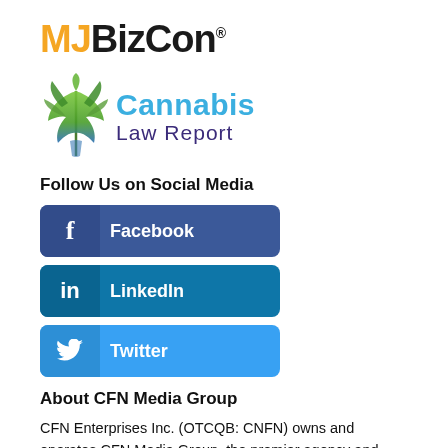[Figure (logo): MJBizCon logo with orange MJ and black BizCon text with registered trademark symbol]
[Figure (logo): Cannabis Law Report logo with a cannabis leaf SVG and two-tone text: Cannabis in blue, Law Report in purple]
Follow Us on Social Media
[Figure (infographic): Facebook social media button — dark blue rounded rectangle with f icon and Facebook label]
[Figure (infographic): LinkedIn social media button — medium blue rounded rectangle with in icon and LinkedIn label]
[Figure (infographic): Twitter social media button — light blue rounded rectangle with bird icon and Twitter label]
About CFN Media Group
CFN Enterprises Inc. (OTCQB: CNFN) owns and operates CFN Media Group, the premier agency and financial media network reaching executives, entrepreneurs and consumers worldwide. Through its proprietary content creation, video